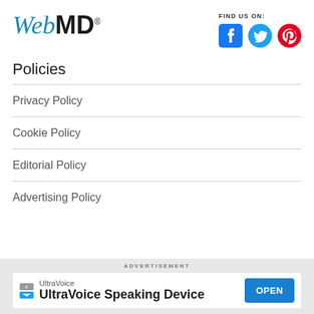[Figure (logo): WebMD logo with blue italic 'Web' and bold black 'MD' text]
FIND US ON:
[Figure (infographic): Social media icons: Facebook (blue), Twitter (blue), Pinterest (red)]
Policies
Privacy Policy
Cookie Policy
Editorial Policy
Advertising Policy
ADVERTISEMENT
[Figure (screenshot): Advertisement banner for UltraVoice Speaking Device with OPEN button]